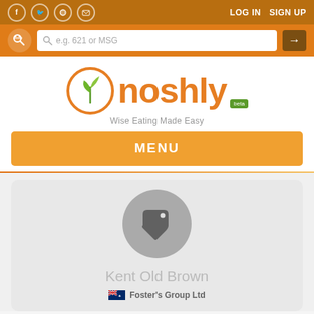[Figure (screenshot): Top navigation bar with social icons (Facebook, Twitter, globe, email) on left and LOG IN / SIGN UP on right, dark orange background]
[Figure (screenshot): Search bar with binoculars icon and text input 'e.g. 621 or MSG' on orange background]
[Figure (logo): Noshly logo: orange circle with green sprout, orange 'noshly' text, tagline 'Wise Eating Made Easy', green 'beta' badge]
MENU
Kent Old Brown
Foster's Group Ltd